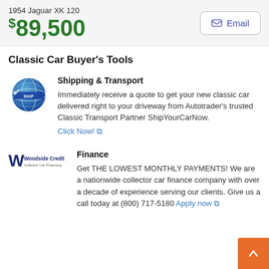1954 Jaguar XK 120
$89,500
Classic Car Buyer's Tools
Shipping & Transport
Immediately receive a quote to get your new classic car delivered right to your driveway from Autotrader's trusted Classic Transport Partner ShipYourCarNow. Click Now!
Finance
Get THE LOWEST MONTHLY PAYMENTS! We are a nationwide collector car finance company with over a decade of experience serving our clients. Give us a call today at (800) 717-5180 Apply now